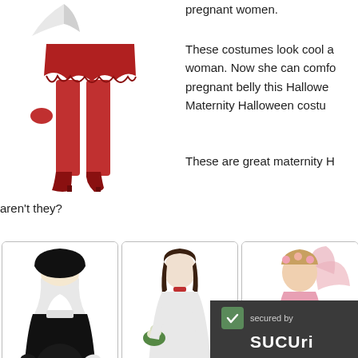[Figure (photo): Woman in red devil/demon Halloween costume with red dress, red tights, red high-heeled boots, and small white feathered wings — cropped to show from torso down.]
pregnant women.
These costumes look cool a... woman. Now she can comfo... pregnant belly this Hallowe... Maternity Halloween costu...
These are great maternity H...
aren't they?
[Figure (photo): Pregnant woman wearing a nun Halloween costume — full black habit with white wimple, white gloves.]
[Figure (photo): Woman in white tattered ghost bride Halloween costume, holding flowers.]
[Figure (photo): Woman in pink fairy Halloween costume with wings.]
Buy from amazon.com
Buy from amazon.com
Buy fro...
[Figure (logo): Sucuri security badge — dark background with checkmark and 'secured by SUCURI' text.]